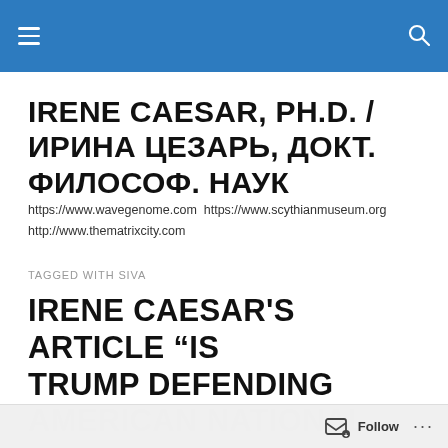Navigation header bar with hamburger menu and search icon
IRENE CAESAR, PH.D. / ИРИНА ЦЕЗАРЬ, ДОКТ. ФИЛОСОФ. НАУК
https://www.wavegenome.com https://www.scythianmuseum.org http://www.thematrixcity.com
TAGGED WITH SIVA
IRENE CAESAR'S ARTICLE "IS TRUMP DEFENDING AMERICAN NATIONAL..."
Follow